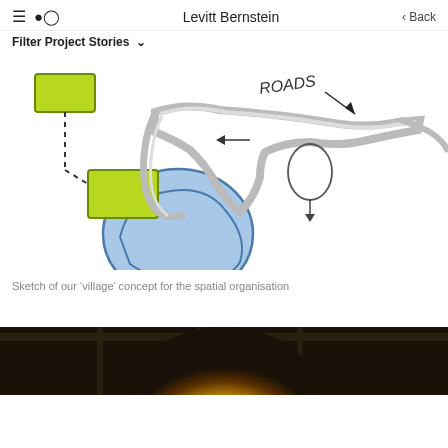≡ 🔍 Levitt Bernstein ‹ Back
Filter Project Stories ∨
[Figure (illustration): Hand-drawn sketch showing a 'village' concept diagram with yellow-green rectangles representing buildings connected by roads/paths, blue organic shapes representing open spaces or water features, and handwritten text 'ROADS' with arrows indicating circulation routes.]
Sketch of our 'village' concept for the spatial organisation
[Figure (photo): Photograph of a ceiling with a large circular illuminated light fixture glowing brightly, with ceiling structure visible in dark surroundings.]